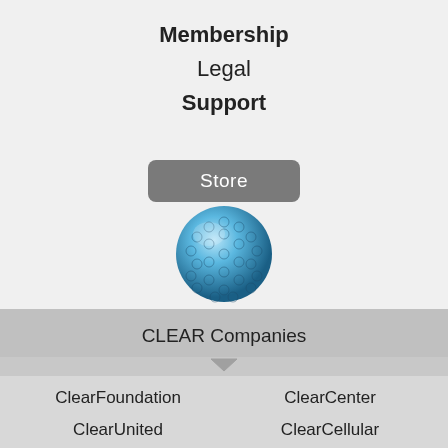Membership
Legal
Support
[Figure (other): Store button (dark grey rounded rectangle with white text 'Store')]
[Figure (logo): DigitalWorld logo: blue faceted globe sphere above the text 'DigitalWorld' in blue (Digital lighter, World bolder)]
CLEAR Companies
ClearFoundation
ClearCenter
ClearUnited
ClearCellular